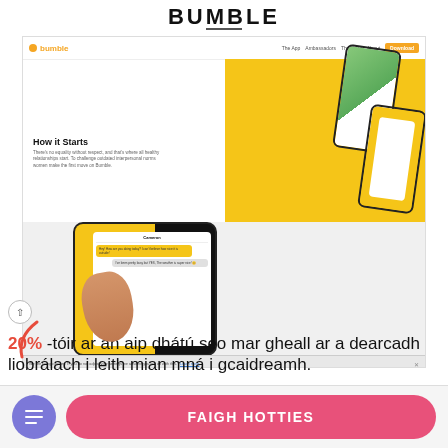BUMBLE
[Figure (screenshot): Bumble website screenshot showing navigation bar with logo and links, a 'How it Starts' section with descriptive text, a yellow hero background with phone mockups showing dating app interface.]
[Figure (screenshot): Bumble app messaging screenshot showing a phone with yellow background, a hand holding the phone, a chat interface with yellow message bubbles, and a cookie consent bar at the bottom.]
20% -tóir ar an aip dhátú seo mar gheall ar a dearcadh liobrálach i leith mian mná i gcaidreamh.
FAIGH HOTTIES